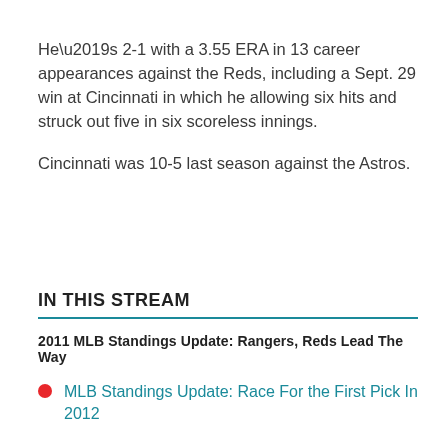He’s 2-1 with a 3.55 ERA in 13 career appearances against the Reds, including a Sept. 29 win at Cincinnati in which he allowing six hits and struck out five in six scoreless innings.
Cincinnati was 10-5 last season against the Astros.
IN THIS STREAM
2011 MLB Standings Update: Rangers, Reds Lead The Way
MLB Standings Update: Race For the First Pick In 2012